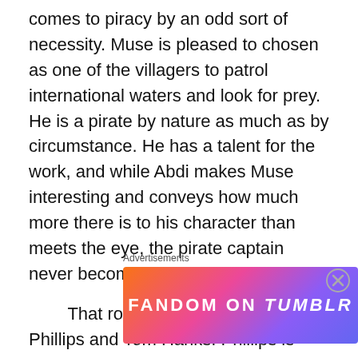comes to piracy by an odd sort of necessity. Muse is pleased to chosen as one of the villagers to patrol international waters and look for prey. He is a pirate by nature as much as by circumstance. He has a talent for the work, and while Abdi makes Muse interesting and conveys how much more there is to his character than meets the eye, the pirate captain never becomes heroic or sympathetic.
That role is reserved for Captain Phillips and Tom Hanks. Phillips is frightened by the prospect on being boarded when he sees the pirate's small motor craft on the Alabama's radar. He takes evasive tactics and looks as if he has maneuvered clear of trouble, but the ingenious
Advertisements
[Figure (other): FANDOM ON tumblr advertisement banner with colorful gradient background (orange, pink, purple)]